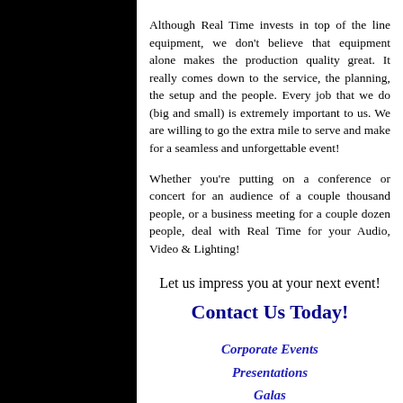Although Real Time invests in top of the line equipment, we don't believe that equipment alone makes the production quality great. It really comes down to the service, the planning, the setup and the people. Every job that we do (big and small) is extremely important to us. We are willing to go the extra mile to serve and make for a seamless and unforgettable event!
Whether you're putting on a conference or concert for an audience of a couple thousand people, or a business meeting for a couple dozen people, deal with Real Time for your Audio, Video & Lighting!
Let us impress you at your next event!
Contact Us Today!
Corporate Events
Presentations
Galas
Trade Shows